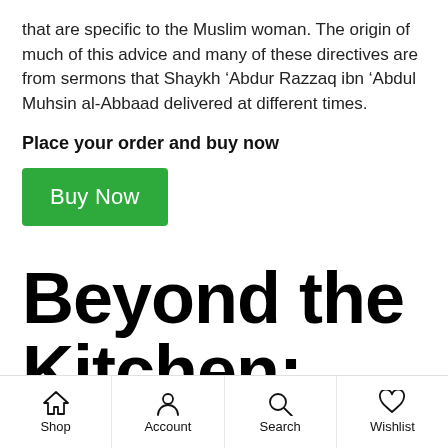that are specific to the Muslim woman. The origin of much of this advice and many of these directives are from sermons that Shaykh ‘Abdur Razzaq ibn ‘Abdul Muhsin al-Abbaad delivered at different times.
Place your order and buy now
[Figure (other): Green 'Buy Now' button]
Beyond the Kitchen: Muslim Women on